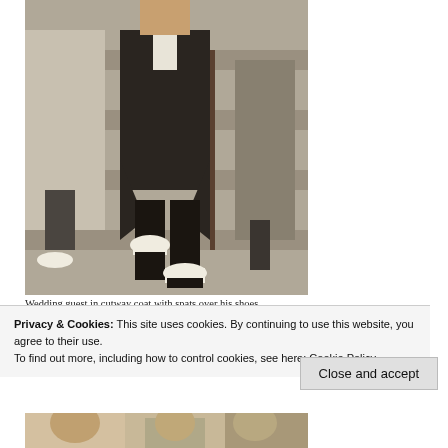[Figure (photo): Black and white vintage photograph of a wedding guest in a cutway coat with spats over his shoes, standing on stone steps. Other figures visible partially.]
Wedding guest in cutway coat,with spats over his shoes.
Privacy & Cookies: This site uses cookies. By continuing to use this website, you agree to their use.
To find out more, including how to control cookies, see here: Cookie Policy
Close and accept
[Figure (photo): Bottom strip showing partial view of another photograph below.]